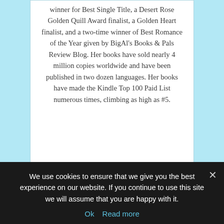winner for Best Single Title, a Desert Rose Golden Quill Award finalist, a Golden Heart finalist, and a two-time winner of Best Romance of the Year given by BigAl's Books & Pals Review Blog. Her books have sold nearly 4 million copies worldwide and have been published in two dozen languages. Her books have made the Kindle Top 100 Paid List numerous times, climbing as high as #5.
View website
donnafasano.blogspot.com
Share this:
We use cookies to ensure that we give you the best experience on our website. If you continue to use this site we will assume that you are happy with it.
Ok   Read more